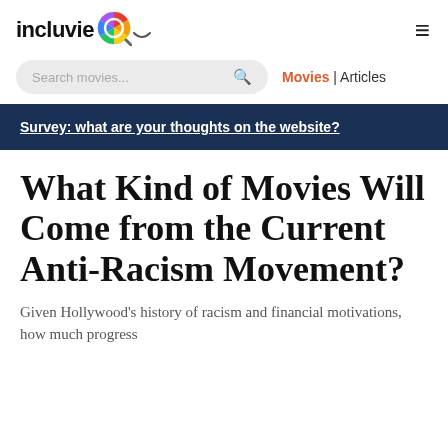incluvie [logo] [hamburger menu]
Search movies... [search icon]  Movies | Articles
Survey: what are your thoughts on the website?
What Kind of Movies Will Come from the Current Anti-Racism Movement?
Given Hollywood's history of racism and financial motivations, how much progress